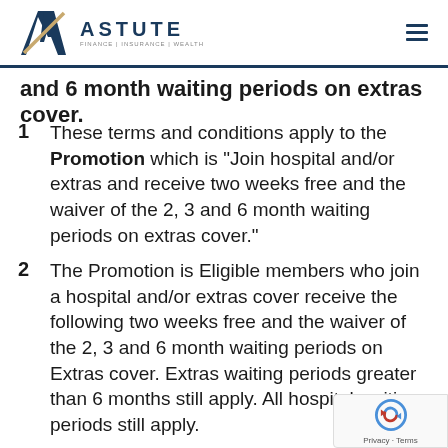Astute Finance | Insurance | Wealth
and 6 month waiting periods on extras cover.
1  These terms and conditions apply to the Promotion which is “Join hospital and/or extras and receive two weeks free and the waiver of the 2, 3 and 6 month waiting periods on extras cover.”
2  The Promotion is Eligible members who join a hospital and/or extras cover receive the following two weeks free and the waiver of the 2, 3 and 6 month waiting periods on Extras cover. Extras waiting periods greater than 6 months still apply. All hospital waiting periods still apply.
3  Where an Eligible member transfers from a health insurer any annual limits used with the previous insurer may be deducted from your